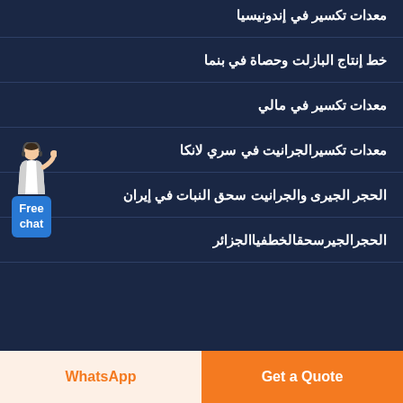معدات تكسير في إندونيسيا
خط إنتاج البازلت وحصاة في بنما
معدات تكسير في مالي
معدات تكسيرالجرانيت في سري لانكا
الحجر الجيرى والجرانيت سحق النبات في إيران
الحجرالجيرسحقالخطفياالجزائر
[Figure (illustration): Customer service agent illustration with Free chat button widget]
Get a Quote
WhatsApp